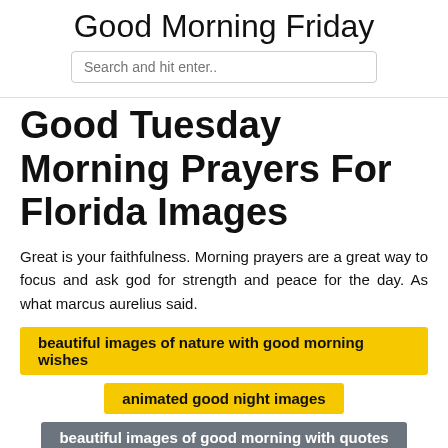Good Morning Friday
Search and hit enter..
Good Tuesday Morning Prayers For Florida Images
Great is your faithfulness. Morning prayers are a great way to focus and ask god for strength and peace for the day. As what marcus aurelius said.
beautiful images of nature with good morning wishes
animated good night images
beautiful images of good morning with quotes
amazing good night images hd 3d
army good morning shayari